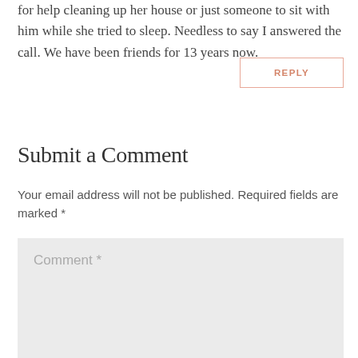for help cleaning up her house or just someone to sit with him while she tried to sleep. Needless to say I answered the call. We have been friends for 13 years now.
REPLY
Submit a Comment
Your email address will not be published. Required fields are marked *
Comment *